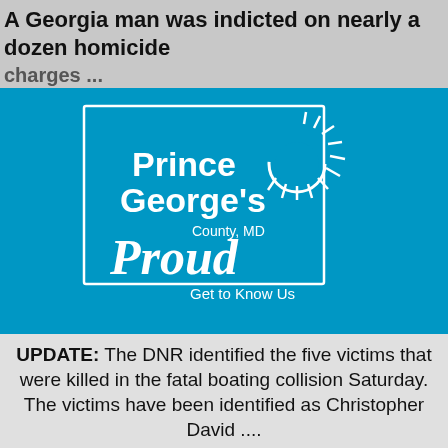A Georgia man was indicted on nearly a dozen homicide charges ...
[Figure (logo): Prince George's County, MD Proud - Get to Know Us logo on cyan/blue background]
catholic homilies year c
Enter your email address
SUBSCRIBE
No Thanks
Remind Me Later
UPDATE: The DNR identified the five victims that were killed in the fatal boating collision Saturday. The victims have been identified as Christopher David ....